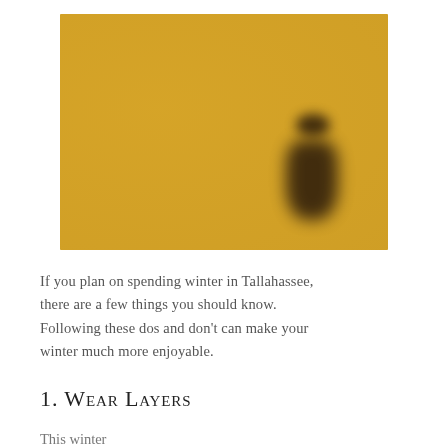[Figure (photo): A blurry, warm golden-yellow toned photograph showing a dark silhouetted figure (person) against an ochre/amber background. The figure appears to be standing or leaning, visible on the right-center area of the image. The overall image is heavily blurred and abstracted.]
If you plan on spending winter in Tallahassee, there are a few things you should know. Following these dos and don't can make your winter much more enjoyable.
1. Wear Layers
This winter...